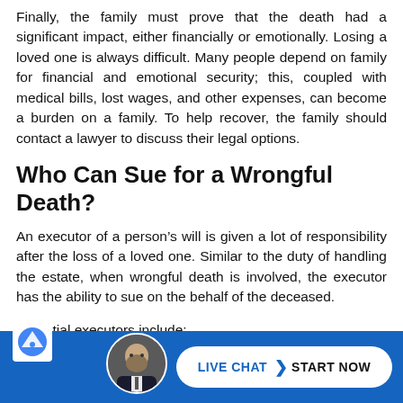Finally, the family must prove that the death had a significant impact, either financially or emotionally. Losing a loved one is always difficult. Many people depend on family for financial and emotional security; this, coupled with medical bills, lost wages, and other expenses, can become a burden on a family. To help recover, the family should contact a lawyer to discuss their legal options.
Who Can Sue for a Wrongful Death?
An executor of a person's will is given a lot of responsibility after the loss of a loved one. Similar to the duty of handling the estate, when wrongful death is involved, the executor has the ability to sue on the behalf of the deceased.
Potential executors include:
[Figure (other): Live chat bar at the bottom with a blue background, a reCAPTCHA logo, a photo of a bald bearded man in a suit, and a white pill-shaped button reading LIVE CHAT > START NOW]